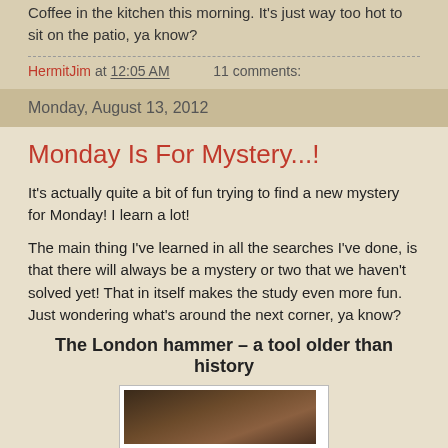Coffee in the kitchen this morning. It's just way too hot to sit on the patio, ya know?
HermitJim at 12:05 AM    11 comments:
Monday, August 13, 2012
Monday Is For Mystery...!
It's actually quite a bit of fun trying to find a new mystery for Monday! I learn a lot!
The main thing I've learned in all the searches I've done, is that there will always be a mystery or two that we haven't solved yet! That in itself makes the study even more fun. Just wondering what's around the next corner, ya know?
The London hammer – a tool older than history
[Figure (photo): Photo of the London hammer artifact]